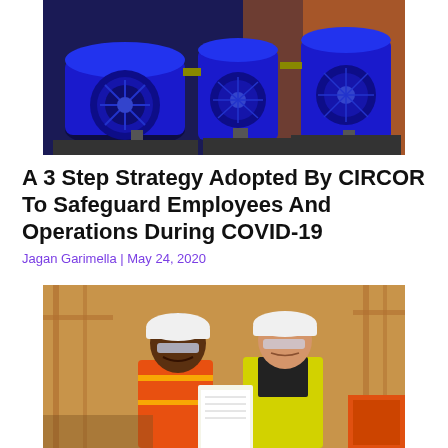[Figure (photo): Industrial blue electric motors and pumps in a factory/plant setting with orange lighting in background]
A 3 Step Strategy Adopted By CIRCOR To Safeguard Employees And Operations During COVID-19
Jagan Garimella | May 24, 2020
[Figure (photo): Two construction workers in white hard hats and safety glasses reviewing documents at a construction site, one wearing orange vest and one wearing yellow high-vis jacket]